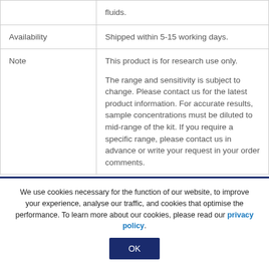|  | fluids. |
| Availability | Shipped within 5-15 working days. |
| Note | This product is for research use only.

The range and sensitivity is subject to change. Please contact us for the latest product information. For accurate results, sample concentrations must be diluted to mid-range of the kit. If you require a specific range, please contact us in advance or write your request in your order comments. |
We use cookies necessary for the function of our website, to improve your experience, analyse our traffic, and cookies that optimise the performance. To learn more about our cookies, please read our privacy policy. OK